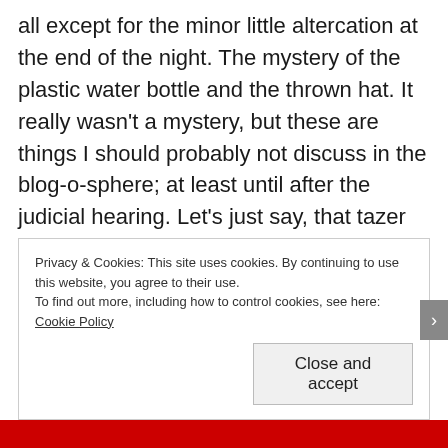all except for the minor little altercation at the end of the night. The mystery of the plastic water bottle and the thrown hat. It really wasn't a mystery, but these are things I should probably not discuss in the blog-o-sphere; at least until after the judicial hearing. Let's just say, that tazer would have come in handy.
Privacy & Cookies: This site uses cookies. By continuing to use this website, you agree to their use.
To find out more, including how to control cookies, see here: Cookie Policy
Close and accept